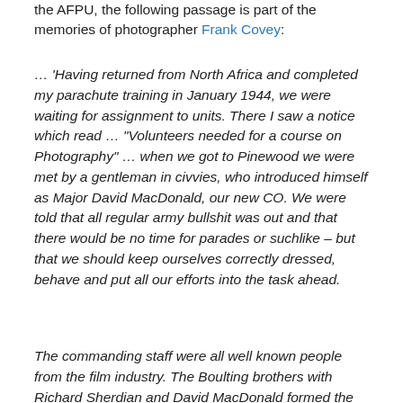the AFPU, the following passage is part of the memories of photographer Frank Covey:
… ‘Having returned from North Africa and completed my parachute training in January 1944, we were waiting for assignment to units. There I saw a notice which read … “Volunteers needed for a course on Photography” … when we got to Pinewood we were met by a gentleman in civvies, who introduced himself as Major David MacDonald, our new CO. We were told that all regular army bullshit was out and that there would be no time for parades or suchlike – but that we should keep ourselves correctly dressed, behave and put all our efforts into the task ahead.
The commanding staff were all well known people from the film industry. The Boulting brothers with Richard Sheridan and David MacDonald formed the core …